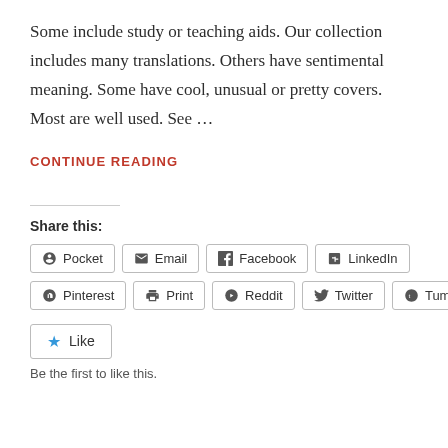Some include study or teaching aids. Our collection includes many translations. Others have sentimental meaning. Some have cool, unusual or pretty covers. Most are well used. See …
CONTINUE READING
Share this:
Pocket  Email  Facebook  LinkedIn
Pinterest  Print  Reddit  Twitter  Tumblr
Like
Be the first to like this.